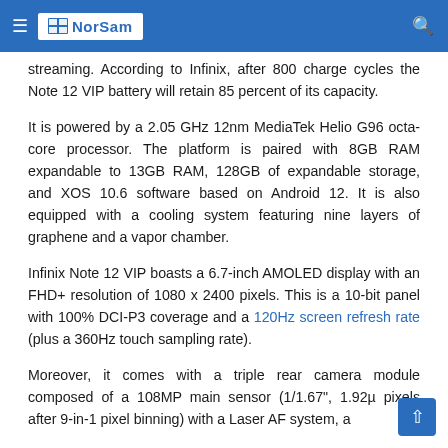NorSam
streaming. According to Infinix, after 800 charge cycles the Note 12 VIP battery will retain 85 percent of its capacity.
It is powered by a 2.05 GHz 12nm MediaTek Helio G96 octa-core processor. The platform is paired with 8GB RAM expandable to 13GB RAM, 128GB of expandable storage, and XOS 10.6 software based on Android 12. It is also equipped with a cooling system featuring nine layers of graphene and a vapor chamber.
Infinix Note 12 VIP boasts a 6.7-inch AMOLED display with an FHD+ resolution of 1080 x 2400 pixels. This is a 10-bit panel with 100% DCI-P3 coverage and a 120Hz screen refresh rate (plus a 360Hz touch sampling rate).
Moreover, it comes with a triple rear camera module composed of a 108MP main sensor (1/1.67", 1.92µ pixels after 9-in-1 pixel binning) with a Laser AF system, a